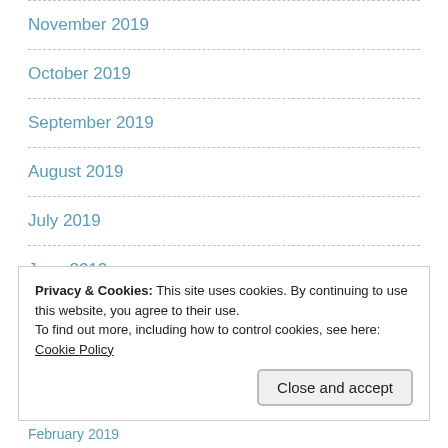November 2019
October 2019
September 2019
August 2019
July 2019
June 2019
May 2019
Privacy & Cookies: This site uses cookies. By continuing to use this website, you agree to their use.
To find out more, including how to control cookies, see here: Cookie Policy
Close and accept
February 2019